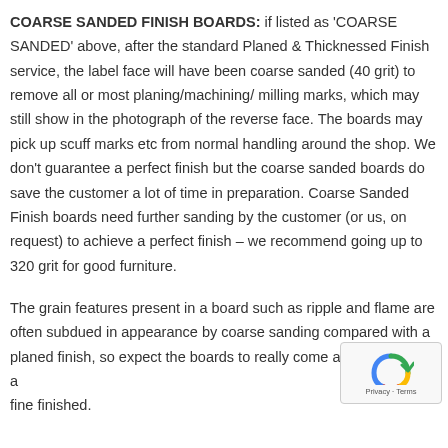COARSE SANDED FINISH BOARDS:  if listed as 'COARSE SANDED' above,  after the standard Planed & Thicknessed Finish service, the label face will have been coarse sanded (40 grit) to remove all or most planing/machining/ milling marks,  which may still show in the photograph of the reverse face.  The boards may pick up scuff marks etc from normal handling around the shop.  We don't guarantee a perfect finish but the coarse sanded boards do save the customer a lot of time in preparation. Coarse Sanded Finish boards need further sanding by the customer (or us, on request) to achieve a perfect finish –   we recommend going up to 320 grit for good furniture.
The grain features present in a board such as ripple and flame are often subdued in appearance by coarse sanding compared with a planed finish, so expect the boards to really come alive when they are fine finished.